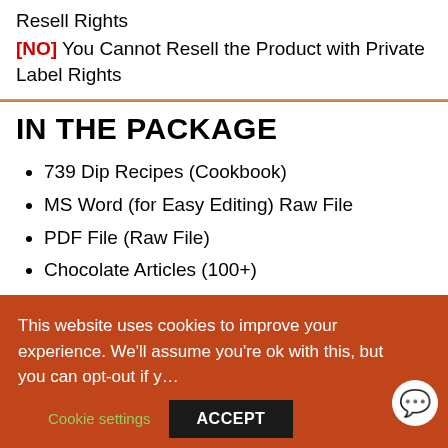Resell Rights
[NO] You Cannot Resell the Product with Private Label Rights
IN THE PACKAGE
739 Dip Recipes (Cookbook)
MS Word (for Easy Editing) Raw File
PDF File (Raw File)
Chocolate Articles (100+)
Rebranding Rights License
Chocolate Photos (100+)
This website uses cookies to improve your experience. We'll assume you're ok with this, but you can opt-out if y…